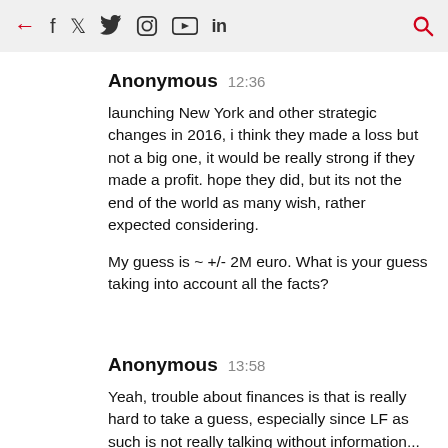← f 🐦 📷 ▶ in 🔍
Anonymous 12:36

launching New York and other strategic changes in 2016, i think they made a loss but not a big one, it would be really strong if they made a profit. hope they did, but its not the end of the world as many wish, rather expected considering.

My guess is ~ +/- 2M euro. What is your guess taking into account all the facts?
Anonymous 13:58

Yeah, trouble about finances is that is really hard to take a guess, especially since LF as such is not really talking without information...